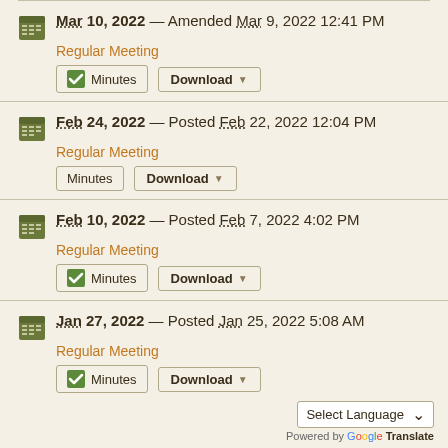Mar 10, 2022 — Amended Mar 9, 2022 12:41 PM
Regular Meeting
Minutes  Download
Feb 24, 2022 — Posted Feb 22, 2022 12:04 PM
Regular Meeting
Minutes  Download
Feb 10, 2022 — Posted Feb 7, 2022 4:02 PM
Regular Meeting
Minutes  Download
Jan 27, 2022 — Posted Jan 25, 2022 5:08 AM
Regular Meeting
Minutes  Download
Select Language
Powered by Google Translate